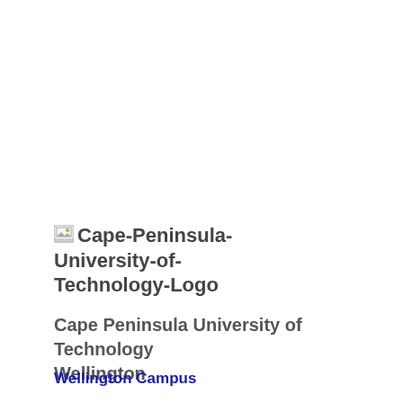[Figure (logo): Cape Peninsula University of Technology Logo — broken image placeholder with alt text 'Cape-Peninsula-University-of-Technology-Logo']
Cape Peninsula University of Technology
Wellington
Wellington Campus